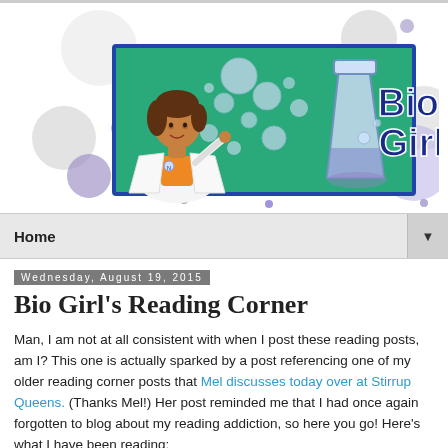[Figure (logo): Bio Girl blog logo: a cartoon woman in a white lab coat surrounded by bubbles and a beaker on a teal background with the text 'Bio Girl']
Home ▼
Wednesday, August 19, 2015
Bio Girl's Reading Corner
Man, I am not at all consistent with when I post these reading posts, am I? This one is actually sparked by a post referencing one of my older reading corner posts that Mel discusses today over at Stirrup Queens. (Thanks Mel!) Her post reminded me that I had once again forgotten to blog about my reading addiction, so here you go! Here's what I have been reading: